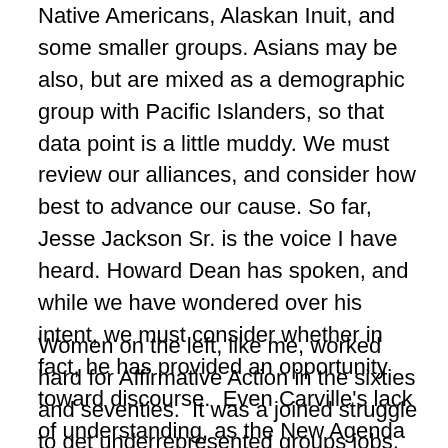Native Americans, Alaskan Inuit, and some smaller groups. Asians may be also, but are mixed as a demographic group with Pacific Islanders, so that data point is a little muddy. We must review our alliances, and consider how best to advance our cause. So far, Jesse Jackson Sr. is the voice I have heard. Howard Dean has spoken, and while we have wondered over his intent, we must consider whether in fact, he has provided an opportunity toward discourse.  Even Carville's lack of understanding, as the New Agenda has noted, is a chance for for education. We need to educate, even while we battle those who know but do not want change.
Women on the left, like me, worked hard for Affirmative Action in the sixties and seventies.  It was a joined struggle to get underrepresented groups jobs, equal pay, and freedom from discrimination. The programs that